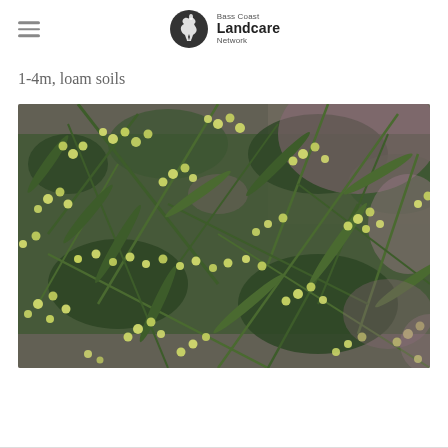Bass Coast Landcare Network
1-4m, loam soils
[Figure (photo): Close-up photograph of a wattle shrub (Acacia species) with numerous small pale yellow spherical flower buds and narrow green phyllodes (leaves), with a blurred purple-pink background.]